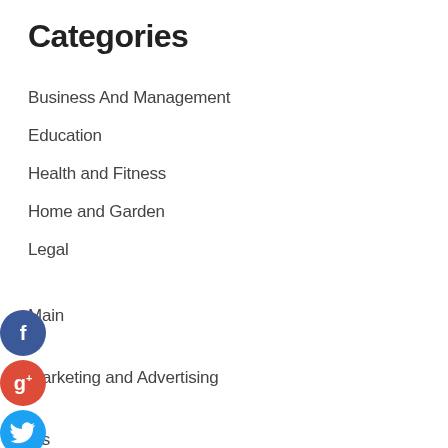Categories
Business And Management
Education
Health and Fitness
Home and Garden
Legal
Main
Marketing and Advertising
Pets
Technology and Gadgets
Travel and Leisure